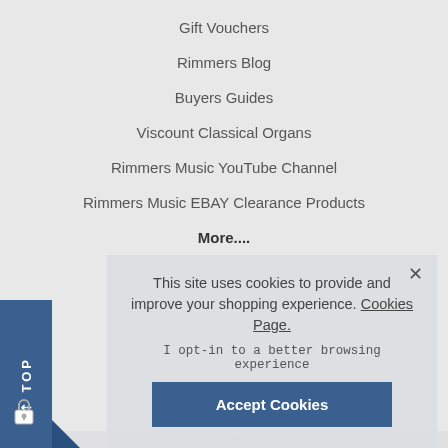Gift Vouchers
Rimmers Blog
Buyers Guides
Viscount Classical Organs
Rimmers Music YouTube Channel
Rimmers Music EBAY Clearance Products
More....
This site uses cookies to provide and improve your shopping experience. Cookies Page.
I opt-in to a better browsing experience
Accept Cookies
Rimmers Music Head Office And Warehouse